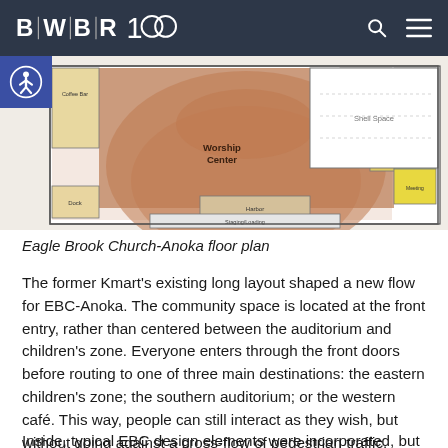BWBR 100
[Figure (schematic): Eagle Brook Church-Anoka floor plan showing colored zones: brown Worship Center auditorium, green and yellow children's zone areas, blue zone, and white Shell Space. Includes room labels such as Worship Center, Shell Space, Vis Control, Meeting, Dock, Harbor, Green Room, Staging/Loading, Coffee Bar area.]
Eagle Brook Church-Anoka floor plan
The former Kmart’s existing long layout shaped a new flow for EBC-Anoka. The community space is located at the front entry, rather than centered between the auditorium and children’s zone. Everyone enters through the front doors before routing to one of three main destinations: the eastern children’s zone; the southern auditorium; or the western café. This way, people can still interact as they wish, but without going against a cross-flow of pedestrian traffic.
Inside, typical EBC design elements were incorporated, but